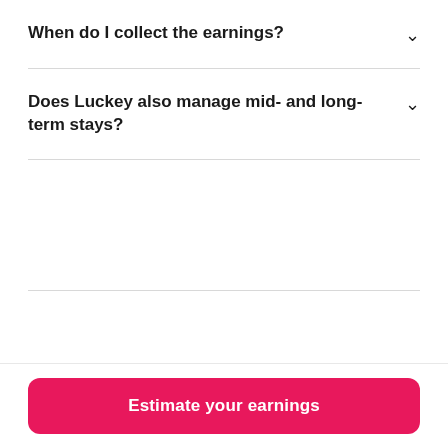When do I collect the earnings?
Does Luckey also manage mid- and long-term stays?
Estimate your earnings